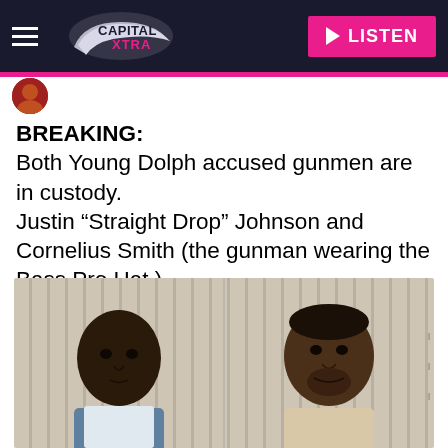[Figure (logo): Capital Xtra radio station logo with hamburger menu on dark navy navigation bar, and a pink LISTEN button with play triangle on the right]
[Figure (photo): Two mugshot photos side by side of Justin 'Straight Drop' Johnson (left, young male) and Cornelius Smith (right, older male) against striped mugshot background]
BREAKING:
Both Young Dolph accused gunmen are in custody.
Justin “Straight Drop” Johnson and Cornelius Smith (the gunman wearing the Bass Pro Hat.)